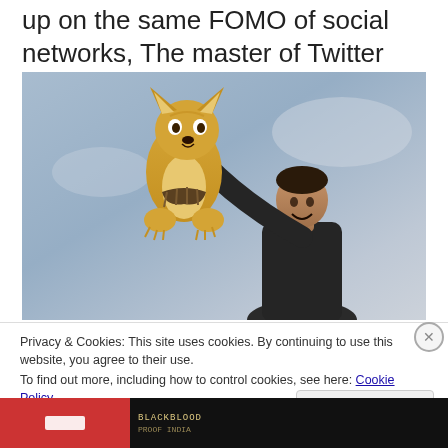up on the same FOMO of social networks, The master of Twitter plays along.
[Figure (photo): Meme image of Elon Musk holding up a Shiba Inu dog (Doge meme) against a gray sky background, styled after The Lion King movie scene.]
Privacy & Cookies: This site uses cookies. By continuing to use this website, you agree to their use.
To find out more, including how to control cookies, see here: Cookie Policy